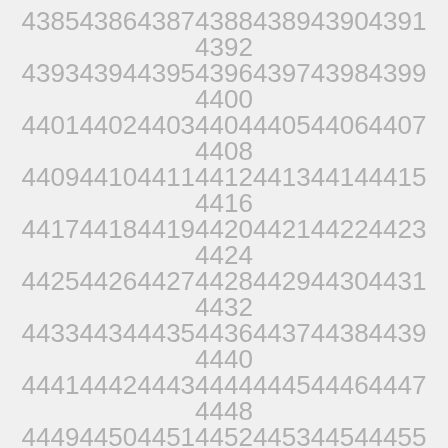4385 4386 4387 4388 4389 4390 4391 4392
4393 4394 4395 4396 4397 4398 4399 4400
4401 4402 4403 4404 4405 4406 4407 4408
4409 4410 4411 4412 4413 4414 4415 4416
4417 4418 4419 4420 4421 4422 4423 4424
4425 4426 4427 4428 4429 4430 4431 4432
4433 4434 4435 4436 4437 4438 4439 4440
4441 4442 4443 4444 4445 4446 4447 4448
4449 4450 4451 4452 4453 4454 4455 4456
4457 4458 4459 4460 4461 4462 4463 4464
4465 4466 4467 4468 4469 4470 4471 4472
4473 4474 4475 4476 4477 4478 4479 4480
4481 4482 4483 4484 4485 4486 4487 4488